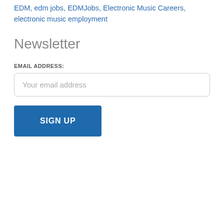EDM, edm jobs, EDMJobs, Electronic Music Careers, electronic music employment
Newsletter
EMAIL ADDRESS:
Your email address
SIGN UP